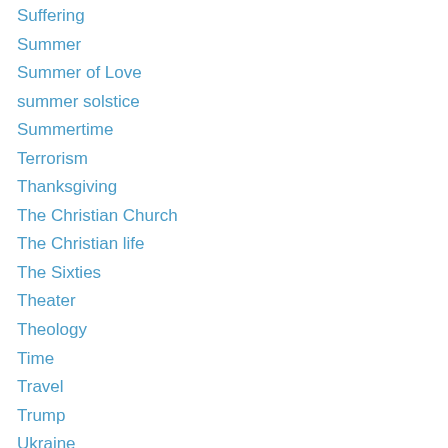Suffering
Summer
Summer of Love
summer solstice
Summertime
Terrorism
Thanksgiving
The Christian Church
The Christian life
The Sixties
Theater
Theology
Time
Travel
Trump
Ukraine
Ukraine War
Uncategorized
Venice
Vietnam War